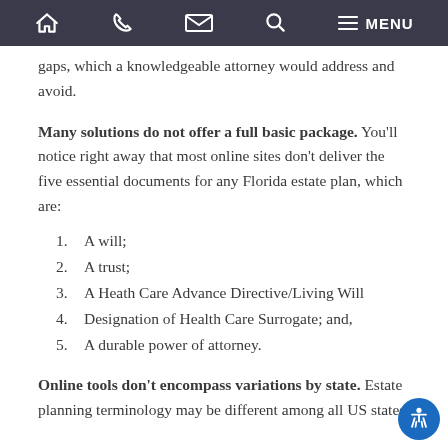Navigation bar with home, phone, email, search, and menu icons
gaps, which a knowledgeable attorney would address and avoid.
Many solutions do not offer a full basic package. You'll notice right away that most online sites don't deliver the five essential documents for any Florida estate plan, which are:
1. A will;
2. A trust;
3. A Heath Care Advance Directive/Living Will
4. Designation of Health Care Surrogate; and,
5. A durable power of attorney.
Online tools don't encompass variations by state. Estate planning terminology may be different among all US states,